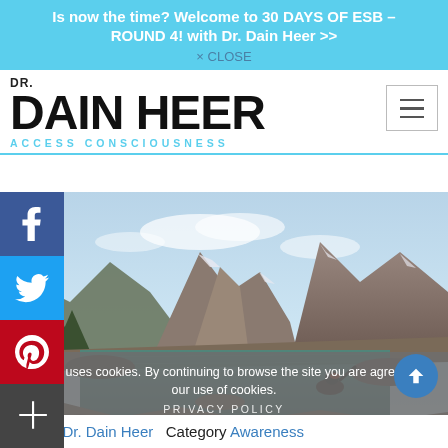Is now the time? Welcome to 30 DAYS OF ESB – ROUND 4! with Dr. Dain Heer >> × CLOSE
DR. DAIN HEER ACCESS CONSCIOUSNESS
[Figure (screenshot): Mountain landscape photo showing a person sitting by an alpine lake with dramatic peaks in the background]
This site uses cookies. By continuing to browse the site you are agreeing to our use of cookies.
PRIVACY POLICY
Author Dr. Dain Heer  Category Awareness